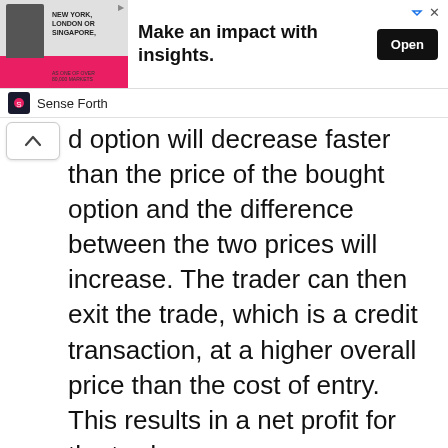[Figure (other): Advertisement banner: image of a person in a suit against a pink background with text 'NEW YORK, LONDON OR SINGAPORE,' with headline 'Make an impact with insights.' and an 'Open' button. Sponsored by Sense Forth.]
d option will decrease faster than the price of the bought option and the difference between the two prices will increase. The trader can then exit the trade, which is a credit transaction, at a higher overall price than the cost of entry. This results in a net profit for the trader.